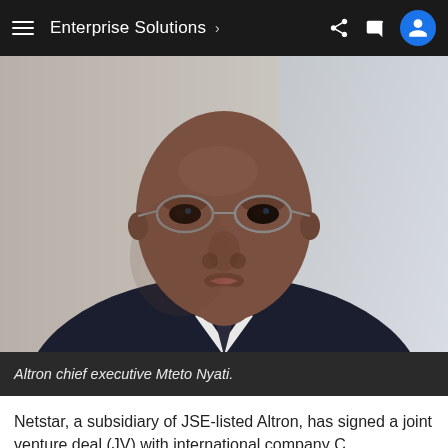Enterprise Solutions >
[Figure (photo): Close-up portrait of Altron chief executive Mteto Nyati, a man wearing glasses and a dark suit with white shirt, looking directly at the camera.]
Altron chief executive Mteto Nyati.
Netstar, a subsidiary of JSE-listed Altron, has signed a joint venture deal (JV) with international company C